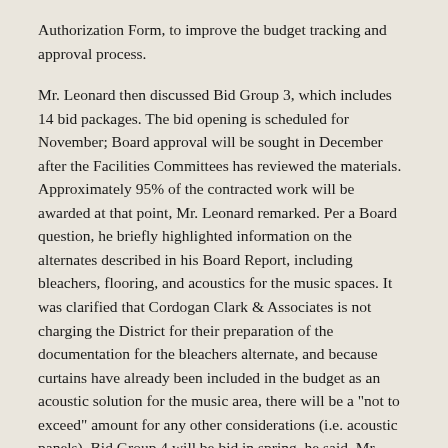Authorization Form, to improve the budget tracking and approval process.
Mr. Leonard then discussed Bid Group 3, which includes 14 bid packages. The bid opening is scheduled for November; Board approval will be sought in December after the Facilities Committees has reviewed the materials. Approximately 95% of the contracted work will be awarded at that point, Mr. Leonard remarked. Per a Board question, he briefly highlighted information on the alternates described in his Board Report, including bleachers, flooring, and acoustics for the music spaces. It was clarified that Cordogan Clark & Associates is not charging the District for their preparation of the documentation for the bleachers alternate, and because curtains have already been included in the budget as an acoustic solution for the music area, there will be a "not to exceed" amount for any other considerations (i.e. acoustic panels). Bid Group 4 will be bid in spring, he said. Mr. Leonard lastly commented on Re-Bid Awards from Bid Group 2 being presented for Board approval. He confirmed that with approval of the two actions being